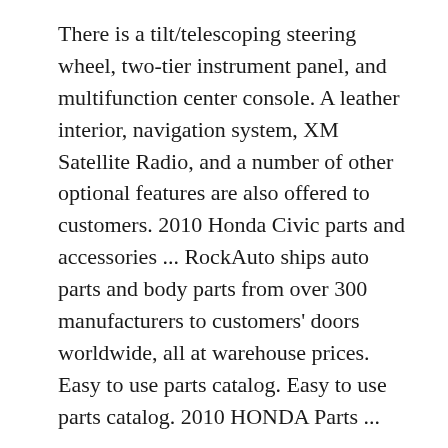There is a tilt/telescoping steering wheel, two-tier instrument panel, and multifunction center console. A leather interior, navigation system, XM Satellite Radio, and a number of other optional features are also offered to customers. 2010 Honda Civic parts and accessories ... RockAuto ships auto parts and body parts from over 300 manufacturers to customers' doors worldwide, all at warehouse prices. Easy to use parts catalog. Easy to use parts catalog. 2010 HONDA Parts ...
Dec 25, 2017 - 2010 Honda Civic Parts. See more ideas about 2010 honda civic, Honda civic parts and Honda civic. 2010 Honda Civic. Collection by AHParts. 12 Pins • 10 Followers 2010 Honda Civic Parts. Follow. ahparts.com. 2010 Honda Civic